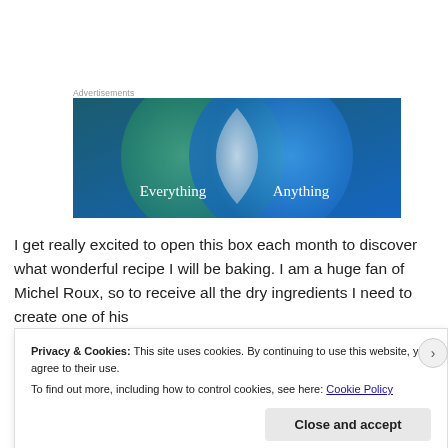Advertisements
[Figure (illustration): Venn diagram advertisement with two overlapping circles on a blue/teal gradient background. Left circle is green-teal with label 'Everything', right circle is blue with label 'Anything'. The overlapping region is light/white.]
I get really excited to open this box each month to discover what wonderful recipe I will be baking. I am a huge fan of Michel Roux, so to receive all the dry ingredients I need to create one of his
Privacy & Cookies: This site uses cookies. By continuing to use this website, you agree to their use.
To find out more, including how to control cookies, see here: Cookie Policy
Close and accept